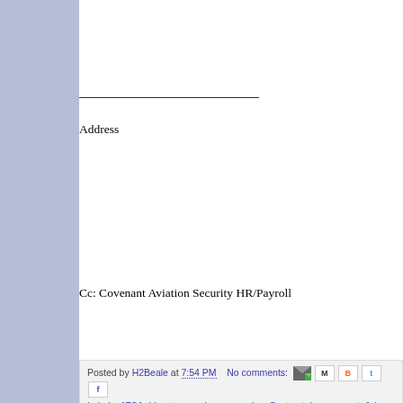——————————————
Address
Cc: Covenant Aviation Security HR/Payroll
Posted by H2Beale at 7:54 PM    No comments:
Labels: ATSA, blog.tsa.gov, bureaucracies, Contract, harassment, John Mc... Contributions, politics, Security First SFO, SEIU, SFO blog, TSA, Twitter, U...
Thursday, August 15, 2013
We have been asked to post this bit o...
To all who received a letter from SEIU demanding that you start...
Mr. Stephen Burke has filed a charge against the Union regard... a lack of a contract. A "Hiatus" period was in effect since the be...